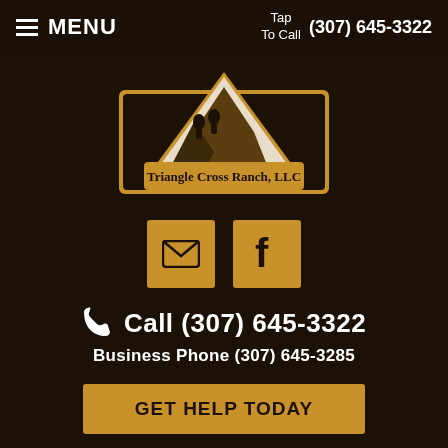MENU  |  Tap To Call  (307) 645-3322
[Figure (logo): Triangle Cross Ranch, LLC logo with mountain and horseback riders silhouette in gold and dark brown colors]
[Figure (infographic): Two golden square icon buttons: envelope/email icon and Facebook 'f' icon]
Call (307) 645-3322
Business Phone (307) 645-3285
GET HELP TODAY
A Therapeutic Boarding School for Troubled Boys Located in One of the Most Renowed and Beautiful Parts of America